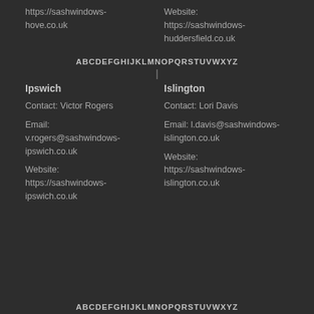https://sashwindows-hove.co.uk
Website: https://sashwindows-huddersfield.co.uk
ABCDEFGHIJKLMNOPQRSTUVWXYZ
Ipswich
Islington
Contact: Victor Rogers
Contact: Lori Davis
Email: v.rogers@sashwindows-ipswich.co.uk
Email: l.davis@sashwindows-islington.co.uk
Website: https://sashwindows-ipswich.co.uk
Website: https://sashwindows-islington.co.uk
ABCDEFGHIJKLMNOPQRSTUVWXYZ